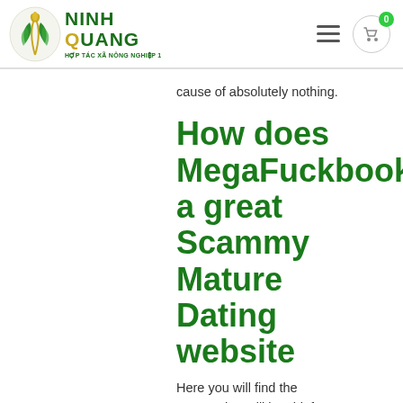[Figure (logo): Ninh Quang Hợp Tác Xã Nông Nghiệp 1 logo with green leaf/grain design]
cause of absolutely nothing.
How does MegaFuckbook a great Scammy Mature Dating website
Here you will find the causes that will be chief you desire to be concerned about the fresh new split-from tips off